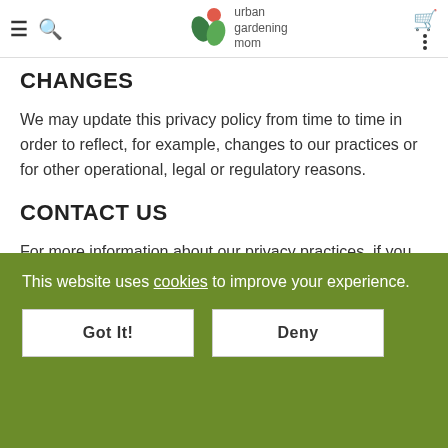urban gardening mom
CHANGES
We may update this privacy policy from time to time in order to reflect, for example, changes to our practices or for other operational, legal or regulatory reasons.
CONTACT US
For more information about our privacy practices, if you have questions, or if you would like to make a
This website uses cookies to improve your experience.
Got It!
Deny